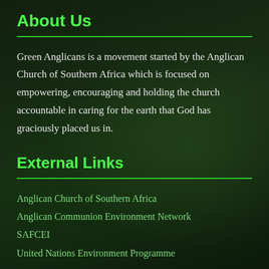About Us
Green Anglicans is a movement started by the Anglican Church of Southern Africa which is focused on empowering, encouraging and holding the church accountable in caring for the earth that God has graciously placed us in.
External Links
Anglican Church of Southern Africa
Anglican Communion Environment Network
SAFCEI
United Nations Environment Programme